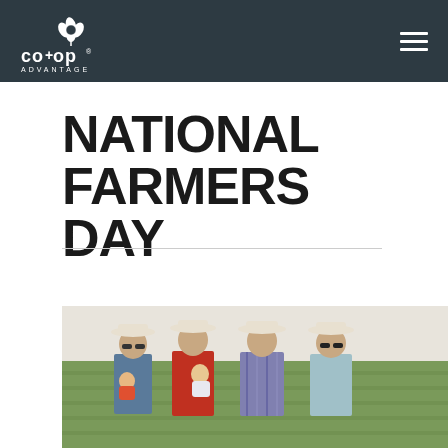co+op ADVANTAGE
NATIONAL FARMERS DAY
[Figure (photo): Group of four men wearing cowboy hats standing in front of a green cotton or crop field. One man is holding a small child. They are dressed in casual western farm attire.]